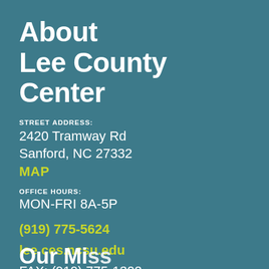About Lee County Center
STREET ADDRESS:
2420 Tramway Rd
Sanford, NC 27332
MAP
OFFICE HOURS:
MON-FRI 8A-5P
(919) 775-5624
lee.ces.ncsu.edu
FAX: (919) 775-1302
DISTRICT MAP
Our Mission